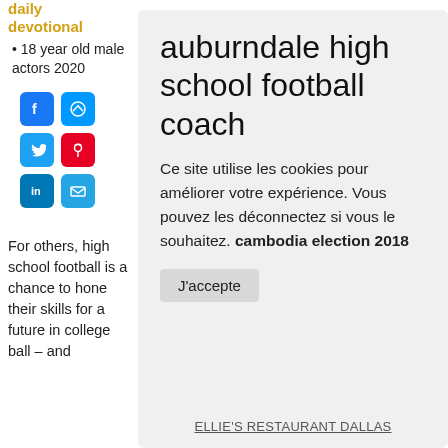daily devotional
18 year old male actors 2020
[Figure (other): Social media share icons: Facebook, Messenger, Twitter, Pinterest, LinkedIn, Email]
For others, high school football is a chance to hone their skills for a future in college ball - and
auburndale high school football coach
Ce site utilise les cookies pour améliorer votre expérience. Vous pouvez les déconnectez si vous le souhaitez. cambodia election 2018
J'accepte
ELLIE'S RESTAURANT DALLAS